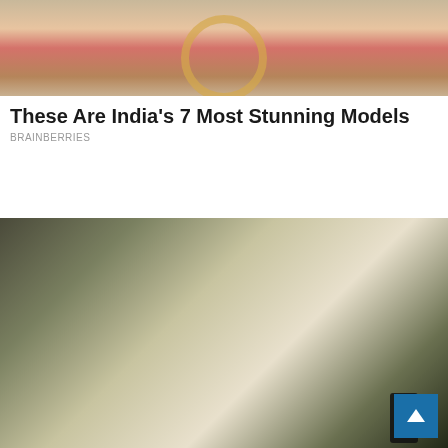[Figure (photo): Close-up photo of a woman's face and lips with hoop earrings, city background]
These Are India's 7 Most Stunning Models
BRAINBERRIES
[Figure (photo): Young woman sitting on a couch looking at her phone with hand on her head]
Does My Ex Want Me Back? 8 Signs
BRAINBERRIES